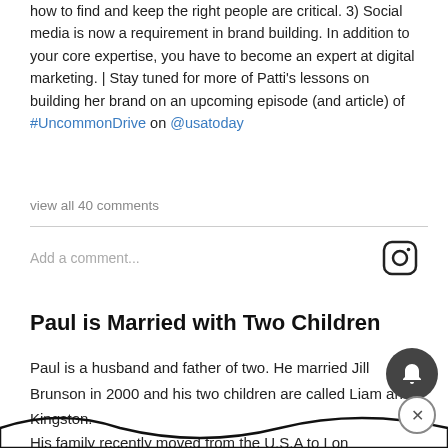how to find and keep the right people are critical. 3) Social media is now a requirement in brand building. In addition to your core expertise, you have to become an expert at digital marketing. | Stay tuned for more of Patti's lessons on building her brand on an upcoming episode (and article) of #UncommonDrive on @usatoday
view all 40 comments
Add a comment...
Paul is Married with Two Children
Paul is a husband and father of two. He married Jill Brunson in 2000 and his two children are called Liam and Kingston.
His family recently moved from the U.S.A to Lon...